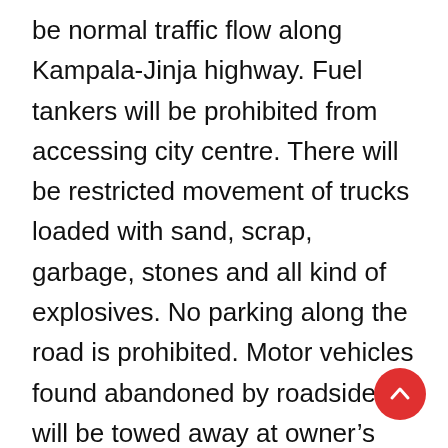be normal traffic flow along Kampala-Jinja highway. Fuel tankers will be prohibited from accessing city centre. There will be restricted movement of trucks loaded with sand, scrap, garbage, stones and all kind of explosives. No parking along the road is prohibited. Motor vehicles found abandoned by roadsides will be towed away at owner's expense," SSP Musinga said.
Musinga said Kyambogo tally centre will strictly be accessed by only accredited persons. Not everyone, according to Musinga, will access Kyambogo. Emergency vehicles which include fire brigade, ambulances, health teams will access Kyambogo via Road...